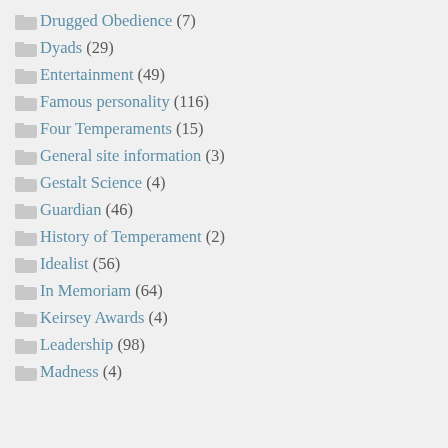Drugged Obedience (7)
Dyads (29)
Entertainment (49)
Famous personality (116)
Four Temperaments (15)
General site information (3)
Gestalt Science (4)
Guardian (46)
History of Temperament (2)
Idealist (56)
In Memoriam (64)
Keirsey Awards (4)
Leadership (98)
Madness (4)